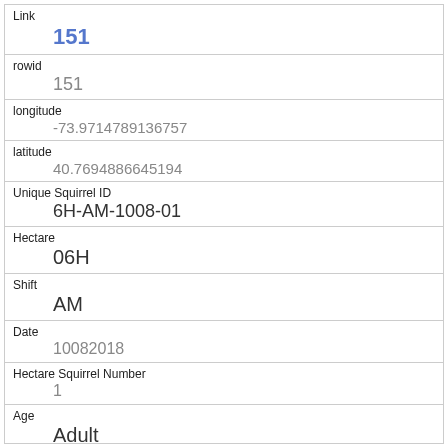| Link | 151 |
| rowid | 151 |
| longitude | -73.9714789136757 |
| latitude | 40.7694886645194 |
| Unique Squirrel ID | 6H-AM-1008-01 |
| Hectare | 06H |
| Shift | AM |
| Date | 10082018 |
| Hectare Squirrel Number | 1 |
| Age | Adult |